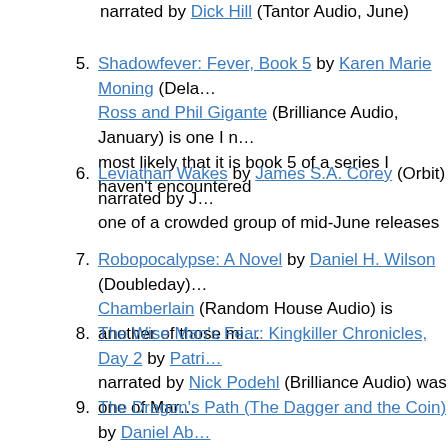narrated by Dick Hill (Tantor Audio, June)
5. Shadowfever: Fever, Book 5 by Karen Marie Moning (Dela... Ross and Phil Gigante (Brilliance Audio, January) is one I m... most likely that it is book 5 of a series I haven't encountered
6. Leviathan Wakes by James S.A. Corey (Orbit) narrated by J... one of a crowded group of mid-June releases
7. Robopocalypse: A Novel by Daniel H. Wilson (Doubleday)... Chamberlain (Random House Audio) is another of those mi...
8. The Wise Man's Fear: Kingkiller Chronicles, Day 2 by Patri... narrated by Nick Podehl (Brilliance Audio) was one of Mar...
9. The Dragon's Path (The Dagger and the Coin) by Daniel Ab... those “Where’s the Audiobook?” books on the list
10. Akata Witch by Nnedi Okorafor (Viking (YA), April) is ano... “Most Wanted” audiobooks for 2011; her previous adult nov... best of 2010, and I’m hoping some audiobook publisher soo... as well
None of these titles made the top-10 editor’s picks, but there we... interest there. So, check them out, and grow that “to read” and...